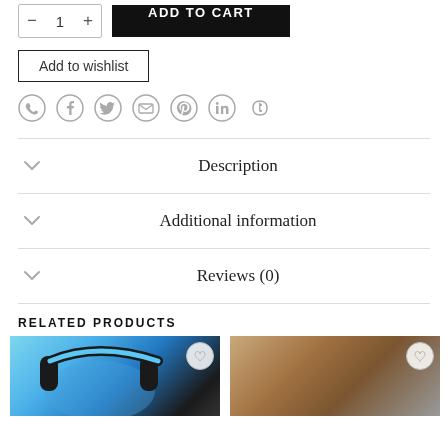[Figure (screenshot): E-commerce product page section showing quantity selector, Add to Cart button, Add to wishlist button, social sharing icons, accordion tabs (Description, Additional information, Reviews (0)), Related Products section with two product thumbnails (blue headphones and brown product).]